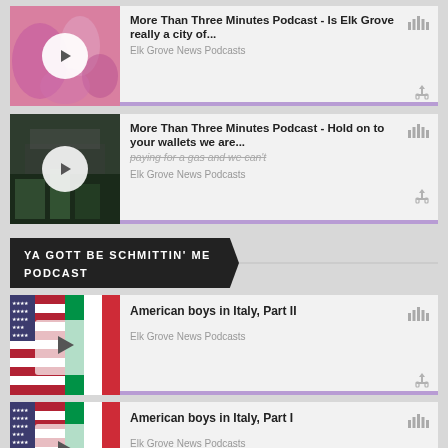[Figure (screenshot): Podcast listing card: More Than Three Minutes Podcast - Is Elk Grove really a city of... with play button over pink image thumbnail]
More Than Three Minutes Podcast - Is Elk Grove really a city of...
Elk Grove News Podcasts
[Figure (screenshot): Podcast listing card: More Than Three Minutes Podcast - Hold on to your wallets we are... with play button over dark image thumbnail]
More Than Three Minutes Podcast - Hold on to your wallets we are...
Elk Grove News Podcasts
YA GOTT BE SCHMITTIN' ME PODCAST
[Figure (screenshot): Podcast listing card: American boys in Italy, Part II with US and Italian flag thumbnail]
American boys in Italy, Part II
Elk Grove News Podcasts
[Figure (screenshot): Podcast listing card: American boys in Italy, Part I with US and Italian flag thumbnail]
American boys in Italy, Part I
Elk Grove News Podcasts